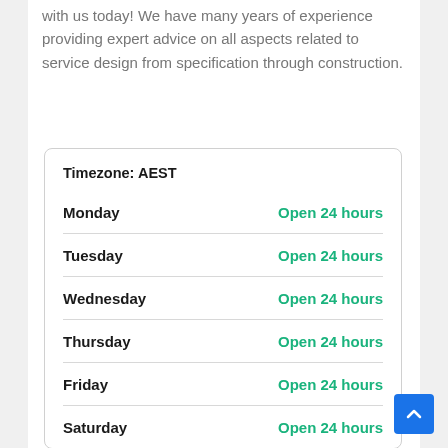with us today! We have many years of experience providing expert advice on all aspects related to service design from specification through construction.
| Day | Hours |
| --- | --- |
| Monday | Open 24 hours |
| Tuesday | Open 24 hours |
| Wednesday | Open 24 hours |
| Thursday | Open 24 hours |
| Friday | Open 24 hours |
| Saturday | Open 24 hours |